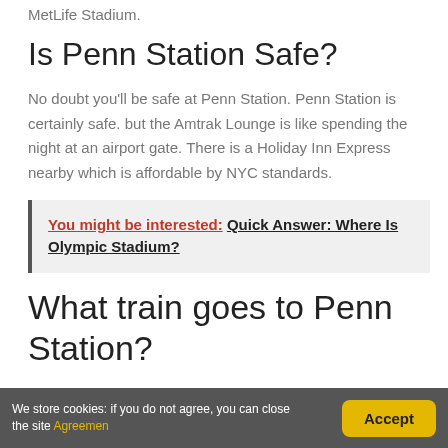MetLife Stadium.
Is Penn Station Safe?
No doubt you'll be safe at Penn Station. Penn Station is certainly safe. but the Amtrak Lounge is like spending the night at an airport gate. There is a Holiday Inn Express nearby which is affordable by NYC standards.
You might be interested:  Quick Answer: Where Is Olympic Stadium?
What train goes to Penn Station?
We store cookies: if you do not agree, you can close the site Agreemen